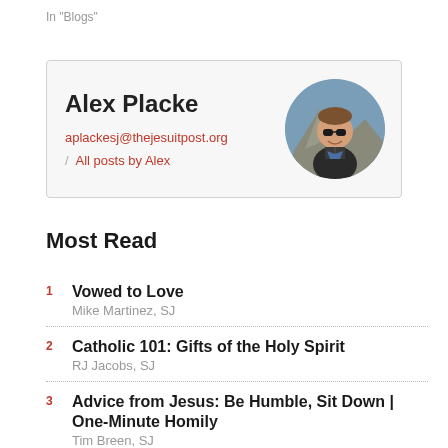In "Blogs"
Alex Placke
aplackesj@thejesuitpost.org
/ All posts by Alex
[Figure (photo): Circular profile photo of Alex Placke wearing sunglasses, smiling, with a mountainous landscape in the background.]
Most Read
1 Vowed to Love
Mike Martinez, SJ
2 Catholic 101: Gifts of the Holy Spirit
RJ Jacobs, SJ
3 Advice from Jesus: Be Humble, Sit Down | One-Minute Homily
Tim Breen, SJ